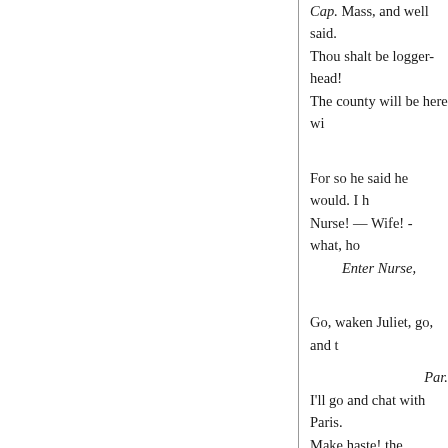Cap. Mass, and well said. Thou shalt be logger-head! The county will be here wi
For so he said he would. I Nurse! — Wife! - what, ho
Enter Nurse,
Go, waken Juliet, go, and t
Par.
I'll go and chat with Paris. Make haste! the bridegroom Make haste, I say!
[Exeunt. O love! O life! - not
Ca.
SCENE V. — JULIET's ch
Enter Nurse.
To
Nurse. Mistress ! — what,